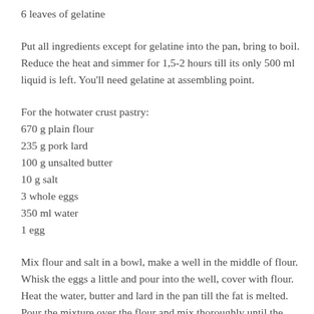6 leaves of gelatine
Put all ingredients except for gelatine into the pan, bring to boil. Reduce the heat and simmer for 1,5-2 hours till its only 500 ml liquid is left. You'll need gelatine at assembling point.
For the hotwater crust pastry:
670 g plain flour
235 g pork lard
100 g unsalted butter
10 g salt
3 whole eggs
350 ml water
1 egg
Mix flour and salt in a bowl, make a well in the middle of flour. Whisk the eggs a little and pour into the well, cover with flour. Heat the water, butter and lard in the pan till the fat is melted. Pour the mixture over the flour and mix thoroughly until the dough forms. Make a ball and wrap it with cling film. Refrigerate for 10-15 minutes. Then let the dough cool at room temperature for 20-30 more minutes. Take 1/3 of the dough and